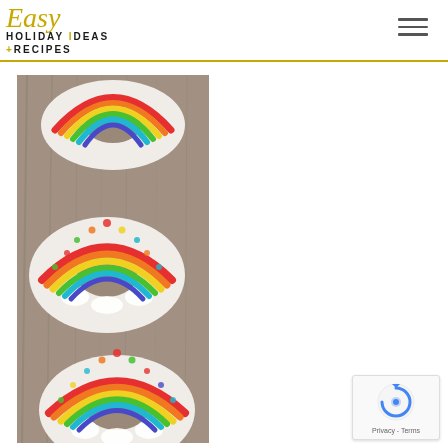Easy Holiday Ideas + Recipes
[Figure (photo): Rainbow donuts with colorful sprinkle decorations arranged on a wooden surface]
[Figure (logo): reCAPTCHA badge with Privacy and Terms links]